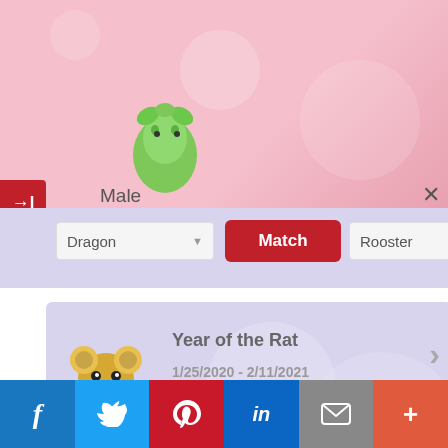[Figure (screenshot): Pink background section with Male and Female zodiac animal icons (dragon green, rooster yellow)]
Male
Female
[Figure (screenshot): Match compatibility widget with Dragon and Rooster dropdowns and a red Match button]
Dragon
Match
Rooster
[Figure (illustration): Year of the Rat card with cartoon rat image, text 'Year of the Rat' and dates '1/25/2020 - 2/11/2021', date dropdowns Jun. 15 1990, and Get Zodiac Sign button]
Year of the Rat
1/25/2020 - 2/11/2021
Jun.  15  1990
Get Zodiac Sign
[Figure (infographic): Social media share bar with Facebook, Twitter, Pinterest, LinkedIn, Email, and Plus icons]